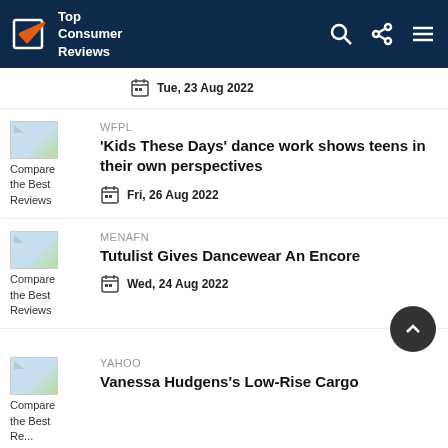Top Consumer Reviews
Tue, 23 Aug 2022
[Figure (illustration): Thumbnail image placeholder labeled 'Compare the Best Reviews']
WFPL
‘Kids These Days’ dance work shows teens in their own perspectives
Fri, 26 Aug 2022
[Figure (illustration): Thumbnail image placeholder labeled 'Compare the Best Reviews']
MENAFN
Tutulist Gives Dancewear An Encore
Wed, 24 Aug 2022
[Figure (illustration): Thumbnail image placeholder labeled 'Compare the Best Reviews']
Yahoo
Vanessa Hudgens’s Low-Rise Cargo